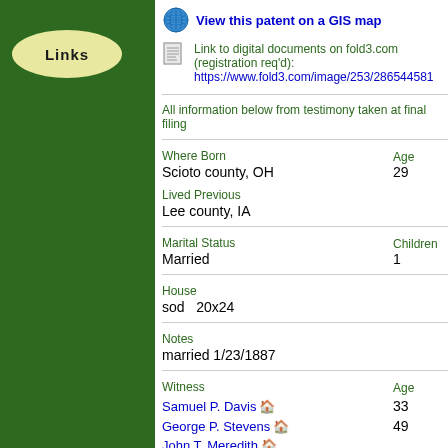Links
View this patent on a GIS map
Link to digital documents on fold3.com (registration req'd): https://www.fold3.com/image/253/286544581
All information below from testimony taken at final filing
| Where Born | Age |
| --- | --- |
| Scioto county, OH | 29 |
| Lived Previous |  |
| --- | --- |
| Lee county, IA |  |
| Marital Status | Children |
| --- | --- |
| Married | 1 |
| House |  |
| --- | --- |
| sod   20x24 |  |
| Notes |  |
| --- | --- |
| married 1/23/1887 |  |
| Witness | Age |
| --- | --- |
| Samuel P. Davis | 33 |
| George P. Stevens | 49 |
| John T. Meredith |  |
| James Berwick |  |
Notice of filing published in